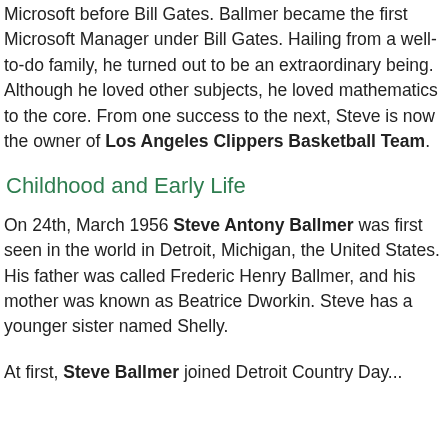Microsoft before Bill Gates. Ballmer became the first Microsoft Manager under Bill Gates. Hailing from a well-to-do family, he turned out to be an extraordinary being. Although he loved other subjects, he loved mathematics to the core. From one success to the next, Steve is now the owner of Los Angeles Clippers Basketball Team.
Childhood and Early Life
On 24th, March 1956 Steve Antony Ballmer was first seen in the world in Detroit, Michigan, the United States. His father was called Frederic Henry Ballmer, and his mother was known as Beatrice Dworkin. Steve has a younger sister named Shelly.
At first, Steve Ballmer joined Detroit Country Day...